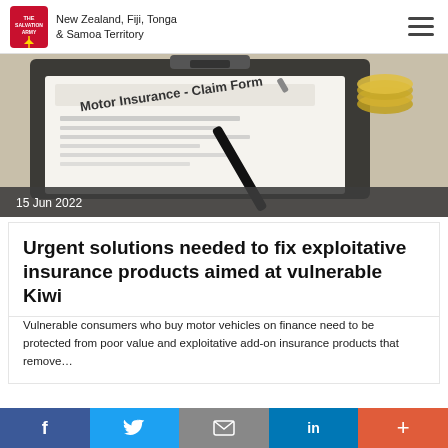New Zealand, Fiji, Tonga & Samoa Territory
[Figure (photo): Photo of a Motor Insurance Claim Form on a clipboard with a pen and coins in the background]
15 Jun 2022
Urgent solutions needed to fix exploitative insurance products aimed at vulnerable Kiwi
Vulnerable consumers who buy motor vehicles on finance need to be protected from poor value and exploitative add-on insurance products that remove…
f  Twitter  Email  in  +